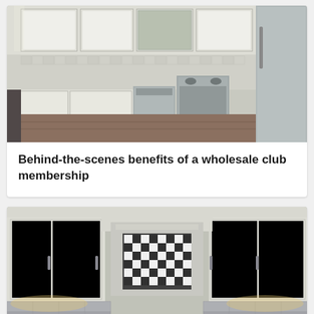[Figure (photo): Kitchen interior with white cabinets, stainless steel appliances including refrigerator, oven, and dishwasher, with dark hardwood flooring.]
Behind-the-scenes benefits of a wholesale club membership
[Figure (photo): Kitchen backsplash with decorative black and white checkered tile pattern surrounded by subway tiles, white upper cabinets on either side, and under-cabinet lighting illuminating a dark countertop.]